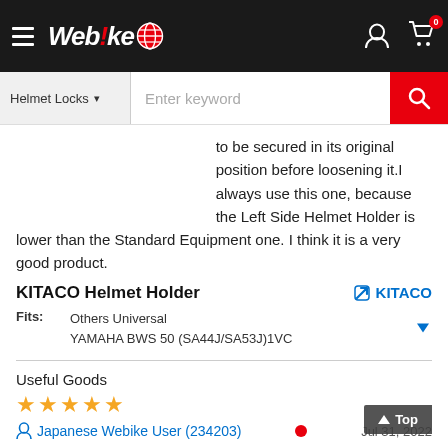Webike — Navigation bar with search
to be secured in its original position before loosening it.I always use this one, because the Left Side Helmet Holder is lower than the Standard Equipment one. I think it is a very good product.
KITACO Helmet Holder
Fits: Others Universal
YAMAHA BWS 50 (SA44J/SA53J)1VC
Useful Goods
★★★★★  Jul 31, 2022
Japanese Webike User (234203)